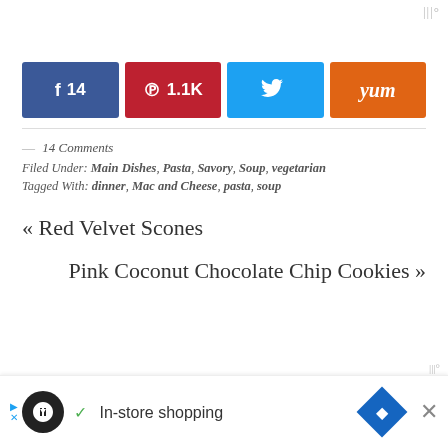[Figure (infographic): Social share buttons row: Facebook (14), Pinterest (1.1K), Twitter, Yum]
— 14 Comments
Filed Under: Main Dishes, Pasta, Savory, Soup, vegetarian
Tagged With: dinner, Mac and Cheese, pasta, soup
« Red Velvet Scones
Pink Coconut Chocolate Chip Cookies »
[Figure (photo): Partial top view of pink coconut chocolate chip cookie]
In-store shopping